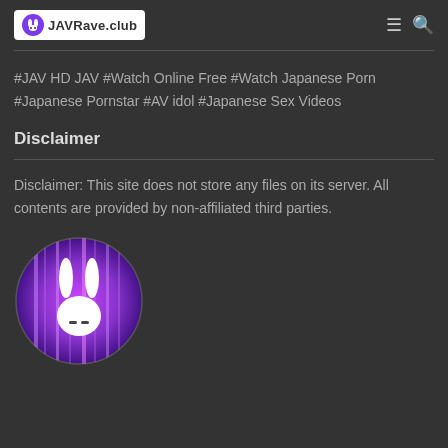JAVRave.club
#JAV HD JAV #Watch Online Free #Watch Japanese Porn #Japanese Pornstar #AV idol #Japanese Sex Videos
Disclaimer
Disclaimer: This site does not store any files on its server. All contents are provided by non-affiliated third parties.
[Figure (logo): Circular logo with white rabbit silhouette on purple/pink glowing background, JAVRave.club branding]